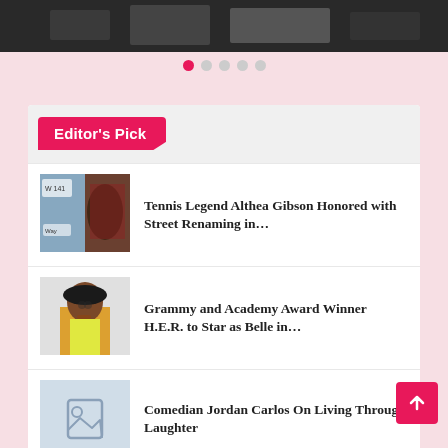[Figure (photo): Partial dark/grayscale image visible at top of page, cropped at top edge]
[Figure (infographic): Carousel pagination dots: one pink active dot followed by four gray inactive dots]
Editor's Pick
[Figure (photo): Thumbnail of a street sign and a person in a red outfit for the Althea Gibson article]
Tennis Legend Althea Gibson Honored with Street Renaming in…
[Figure (photo): Thumbnail of a woman in a yellow dress wearing sunglasses for the H.E.R. article]
Grammy and Academy Award Winner H.E.R. to Star as Belle in…
[Figure (other): Light blue placeholder thumbnail with image icon for Jordan Carlos article]
Comedian Jordan Carlos On Living Through Laughter
[Figure (photo): Partial dark thumbnail visible at bottom edge of page]